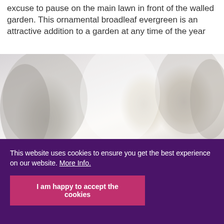excuse to pause on the main lawn in front of the walled garden. This ornamental broadleaf evergreen is an attractive addition to a garden at any time of the year
[Figure (photo): A faded, washed-out photograph of a garden scene showing trees and lawn area with misty/overcast lighting]
This website uses cookies to ensure you get the best experience on our website. More Info.
I am happy to accept the cookies